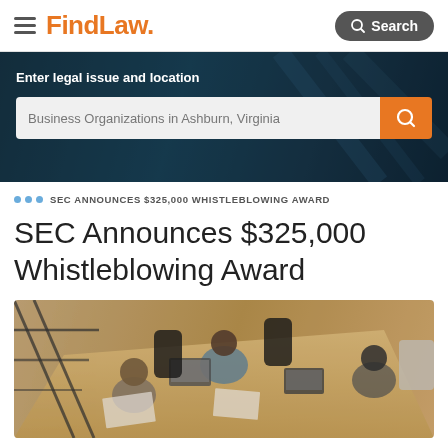FindLaw. Search
[Figure (screenshot): FindLaw website header with hamburger menu, FindLaw logo in orange, and a gray Search button]
[Figure (screenshot): Dark teal hero banner with text 'Enter legal issue and location' and a search bar showing 'Business Organizations in Ashburn, Virginia' with an orange search button]
SEC ANNOUNCES $325,000 WHISTLEBLOWING AWARD
SEC Announces $325,000 Whistleblowing Award
[Figure (photo): Overhead view of people sitting around a work table with laptops, notebooks, and documents in a bright office workspace]